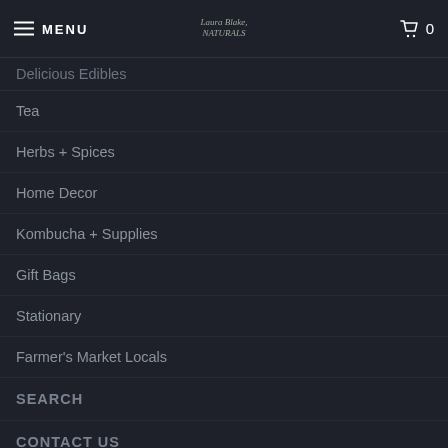MENU | Laura Blake Naturals | 0
Delicious Edibles
Tea
Herbs + Spices
Home Decor
Kombucha + Supplies
Gift Bags
Stationary
Farmer's Market Locals
SEARCH
CONTACT US
ORDERING, SHIPPING, & RETURNS